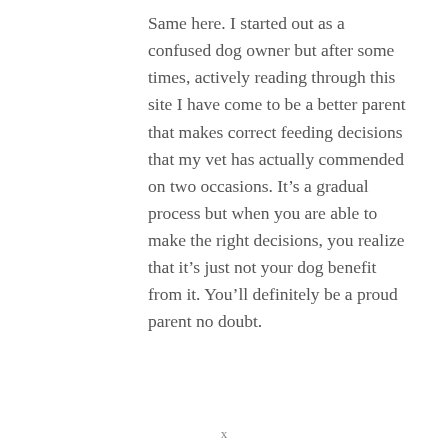Same here. I started out as a confused dog owner but after some times, actively reading through this site I have come to be a better parent that makes correct feeding decisions that my vet has actually commended on two occasions. It's a gradual process but when you are able to make the right decisions, you realize that it's just not your dog benefit from it. You'll definitely be a proud parent no doubt.
x